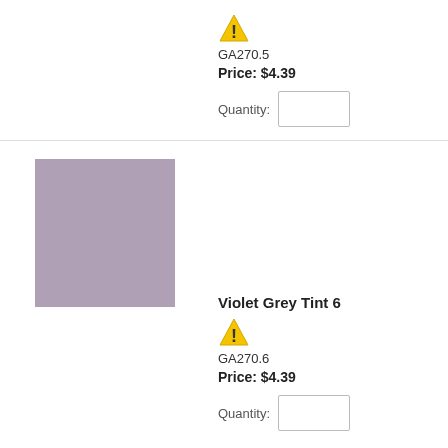[Figure (other): Warning triangle icon (yellow with exclamation mark)]
GA270.5
Price: $4.39
Quantity:
[Figure (illustration): Violet Grey Tint 6 color swatch — a muted mauve/lavender-grey square]
Violet Grey Tint 6
[Figure (other): Warning triangle icon (yellow with exclamation mark)]
GA270.6
Price: $4.39
Quantity: